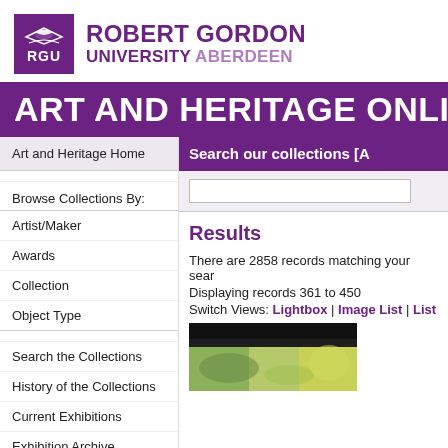[Figure (logo): Robert Gordon University Aberdeen logo with purple RGU shield and text]
ART AND HERITAGE ONLINE
Art and Heritage Home
Browse Collections By:
Artist/Maker
Awards
Collection
Object Type
Search the Collections
History of the Collections
Current Exhibitions
Exhibition Archive
Search our collections [A
Results
There are 2858 records matching your search.
Displaying records 361 to 450
Switch Views: Lightbox | Image List | List
[Figure (photo): Thumbnail image showing a painting with green/yellow tones, partially visible]